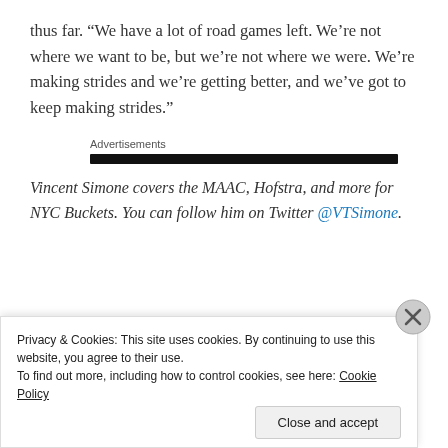thus far. “We have a lot of road games left. We’re not where we want to be, but we’re not where we were. We’re making strides and we’re getting better, and we’ve got to keep making strides.”
Advertisements
Vincent Simone covers the MAAC, Hofstra, and more for NYC Buckets. You can follow him on Twitter @VTSimone.
Privacy & Cookies: This site uses cookies. By continuing to use this website, you agree to their use.
To find out more, including how to control cookies, see here: Cookie Policy
Close and accept